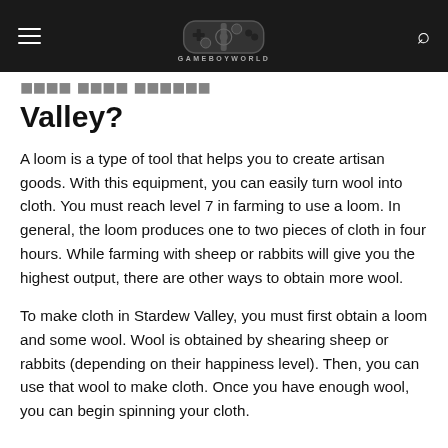GAMEBOYWORLD
Valley?
A loom is a type of tool that helps you to create artisan goods. With this equipment, you can easily turn wool into cloth. You must reach level 7 in farming to use a loom. In general, the loom produces one to two pieces of cloth in four hours. While farming with sheep or rabbits will give you the highest output, there are other ways to obtain more wool.
To make cloth in Stardew Valley, you must first obtain a loom and some wool. Wool is obtained by shearing sheep or rabbits (depending on their happiness level). Then, you can use that wool to make cloth. Once you have enough wool, you can begin spinning your cloth.